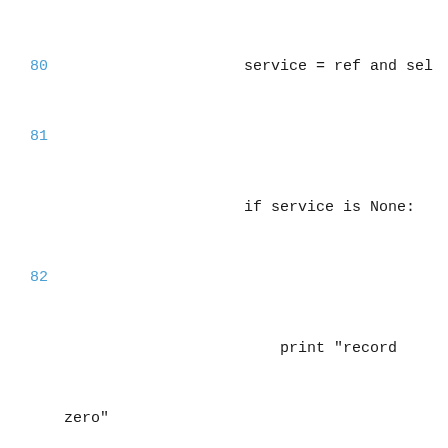80    service = ref and sel
81    if service is None:
82        print "record zero"
83        return service
84
85    def stopRecordService(self, service):
86        ret = self.pnav and self.pnav
87        return ret
88
89    def getRecordings(self):
90        return self.pnav and self.pnav
91
92    def getCurrentService(self):